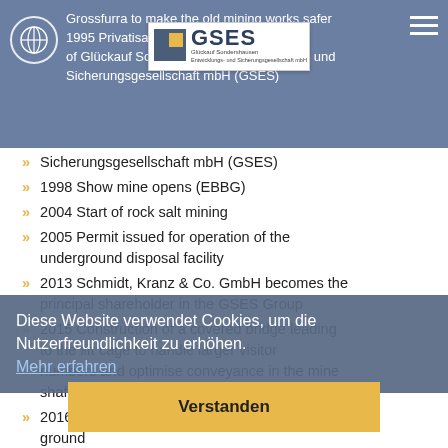Grossfurra to make the old mining works safer
1995 Privatisation and the establishment of Glückauf Sondershausen Entwicklungs- und Sicherungsgesellschaft mbH (GSES)
[Figure (logo): GSES Glückauf Sondershausen Entwicklungs- und Sicherungsgesellschaft mbH logo with globe icon and hamburger menu]
Sicherungsgesellschaft mbH (GSES)
1998 Show mine opens (EBBG)
2004 Start of rock salt mining
2005 Permit issued for operation of the underground disposal facility
2013 Schmidt, Kranz & Co. GmbH becomes the principal shareholder in the GSES Group
2015 Construction of a covered bridge leading to the lift cage to handle larger visitor numbers and optimise conveyance in the mine shaft
2016 Construction of a salt depot above ground
Diese Website verwendet Cookies, um die Nutzerfreundlichkeit zu erhöhen.
Mehr erfahren
Verstanden